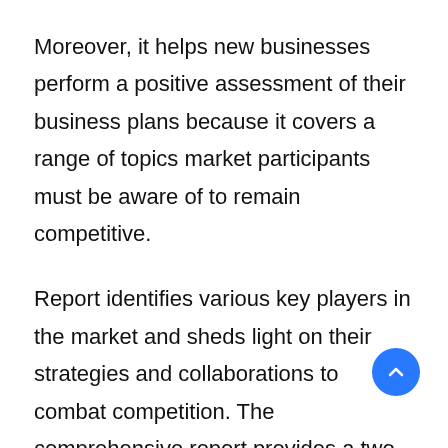Moreover, it helps new businesses perform a positive assessment of their business plans because it covers a range of topics market participants must be aware of to remain competitive.
Report identifies various key players in the market and sheds light on their strategies and collaborations to combat competition. The comprehensive report provides a two-dimensional picture of the market. By knowing the global revenue of manufacturers, the global price of manufacturers, and the production by manufacturers during the forecast period of 2021